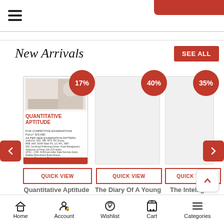≡ (hamburger menu icon)
New Arrivals
SEE ALL
[Figure (screenshot): Book cover for Quantitative Aptitude for Competitive Examinations by R S Aggarwal with red and white design, 17% discount badge]
QUICK VIEW
Quantitative Aptitude for
R S Aggarwal
[Figure (photo): Blank book cover placeholder with 40% discount badge]
QUICK VIEW
The Diary Of A Young Girl
Anne Frank
[Figure (photo): Blank book cover placeholder with 35% discount badge]
QUICK VIEW
The Intelligent Investor
Benjamin Graham
Home  Account  Wishlist  Cart  Categories